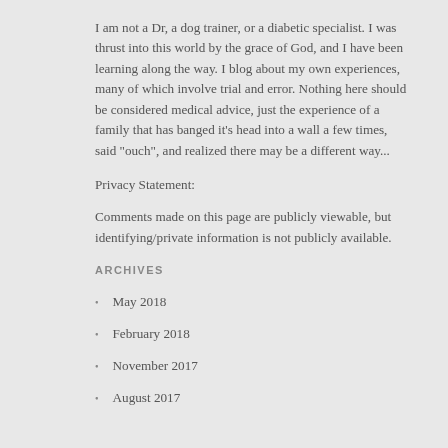I am not a Dr, a dog trainer, or a diabetic specialist. I was thrust into this world by the grace of God, and I have been learning along the way. I blog about my own experiences, many of which involve trial and error. Nothing here should be considered medical advice, just the experience of a family that has banged it's head into a wall a few times, said "ouch", and realized there may be a different way...
Privacy Statement:
Comments made on this page are publicly viewable, but identifying/private information is not publicly available.
ARCHIVES
May 2018
February 2018
November 2017
August 2017